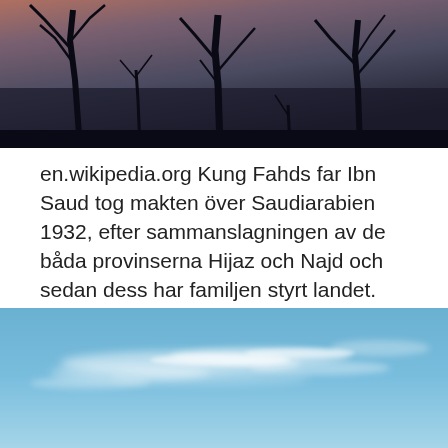[Figure (photo): Dark moody image of bare tree silhouettes against a dim reddish-brown sky]
en.wikipedia.org Kung Fahds far Ibn Saud tog makten över Saudiarabien 1932, efter sammanslagningen av de båda provinserna Hijaz och Najd och sedan dess har familjen styrt landet.
Flera branscher. Följare. 1 följare. Antal jobb. 0 · Följ · 123. Tillbaka. Användarvillkor.
Pysslingen förskolor omdöme
[Figure (photo): Blue sky with white wispy cirrus clouds]